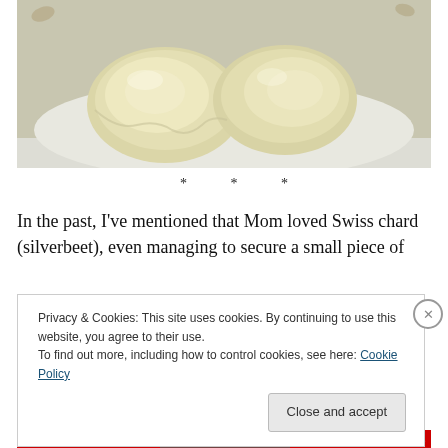[Figure (photo): Close-up photo of two pieces of cooked pasta (ravioli or similar filled pasta) on a white plate, with pale yellow-cream coloring and slightly glossy surface. Two small leaf shapes visible in upper corners of the plate area.]
* * *
In the past, I've mentioned that Mom loved Swiss chard (silverbeet), even managing to secure a small piece of
Privacy & Cookies: This site uses cookies. By continuing to use this website, you agree to their use.
To find out more, including how to control cookies, see here: Cookie Policy
Close and accept